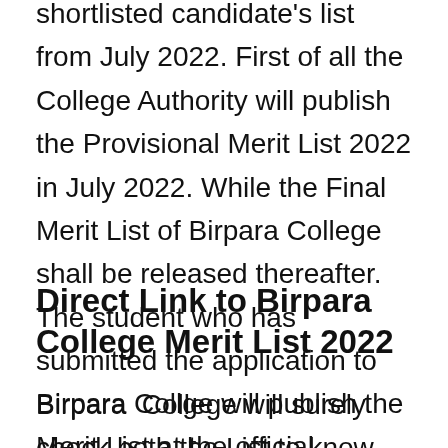shortlisted candidate's list from July 2022. First of all the College Authority will publish the Provisional Merit List 2022 in July 2022. While the Final Merit List of Birpara College shall be released thereafter. The student who has submitted the application to Birpara College will surely check both the List to know their eligibility for subjects opted in Degree Course.
Direct Link to Birpara College Merit List 2022
Birpara Collge will publish the Merit List at the official website of the College. Hence, the